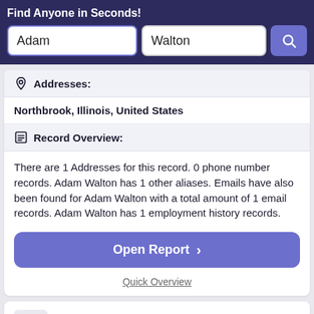Find Anyone in Seconds!
Adam
Walton
Addresses:
Northbrook, Illinois, United States
Record Overview:
There are 1 Addresses for this record. 0 phone number records. Adam Walton has 1 other aliases. Emails have also been found for Adam Walton with a total amount of 1 email records. Adam Walton has 1 employment history records.
Open Report >
Quick Overview
Adam Walton